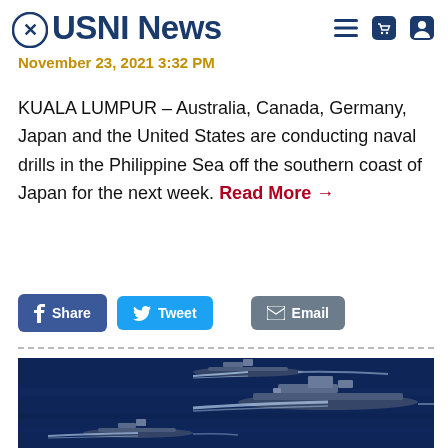USNI News
November 23, 2021 3:32 PM
KUALA LUMPUR – Australia, Canada, Germany, Japan and the United States are conducting naval drills in the Philippine Sea off the southern coast of Japan for the next week. Read More →
[Figure (photo): Aerial view of three naval ships sailing through dark blue ocean water, leaving white wakes behind them.]